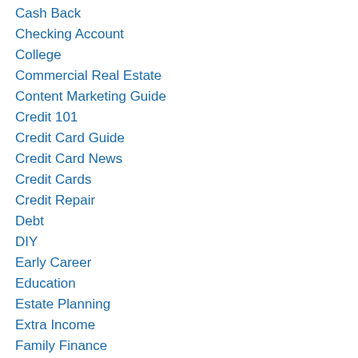Cash Back
Checking Account
College
Commercial Real Estate
Content Marketing Guide
Credit 101
Credit Card Guide
Credit Card News
Credit Cards
Credit Repair
Debt
DIY
Early Career
Education
Estate Planning
Extra Income
Family Finance
FHA Loans